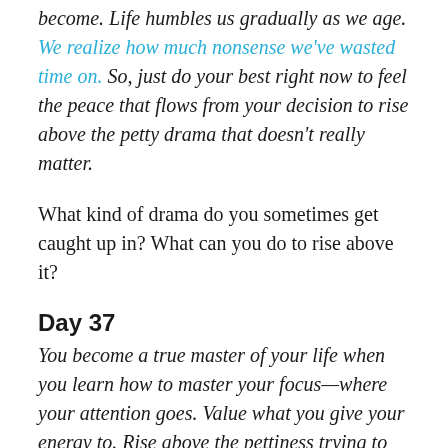become. Life humbles us gradually as we age. We realize how much nonsense we've wasted time on.  So, just do your best right now to feel the peace that flows from your decision to rise above the petty drama that doesn't really matter.
What kind of drama do you sometimes get caught up in?  What can you do to rise above it?
Day 37
You become a true master of your life when you learn how to master your focus—where your attention goes.  Value what you give your energy to.  Rise above the pettiness trying to draw you in.  Focus on what matters.  Where